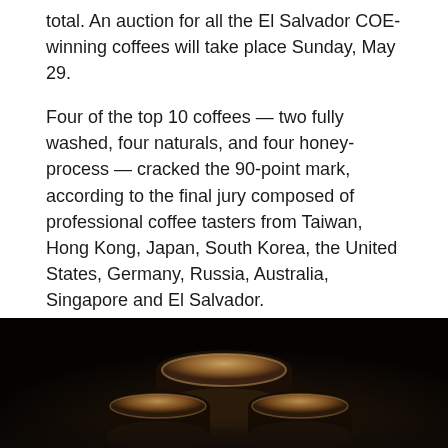total. An auction for all the El Salvador COE-winning coffees will take place Sunday, May 29.
Four of the top 10 coffees — two fully washed, four naturals, and four honey-process — cracked the 90-point mark, according to the final jury composed of professional coffee tasters from Taiwan, Hong Kong, Japan, South Korea, the United States, Germany, Russia, Australia, Singapore and El Salvador.
“The coffees I tasted this week showcased diverse and elegant expressions of high quality coffee in El Salvador,” COE Senior Manager Erin Wang said in an announcement from COE organizer Alliance for Coffee Excellence. “Many long time jury members [excitedly] expressed [that] you would not see this quality in cup or in processing 10 years ago.”
[Figure (photo): Dark background photo showing cupping bowls/coffee cups arranged on a surface, shot from above at an angle with shallow depth of field. The cups appear to contain brewed coffee samples.]